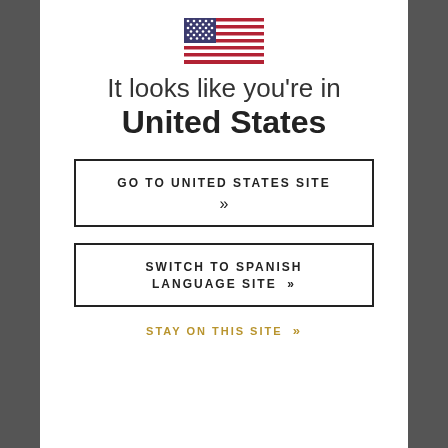[Figure (illustration): US flag emoji/icon centered at top of modal]
It looks like you're in United States
GO TO UNITED STATES SITE »
SWITCH TO SPANISH LANGUAGE SITE »
STAY ON THIS SITE »